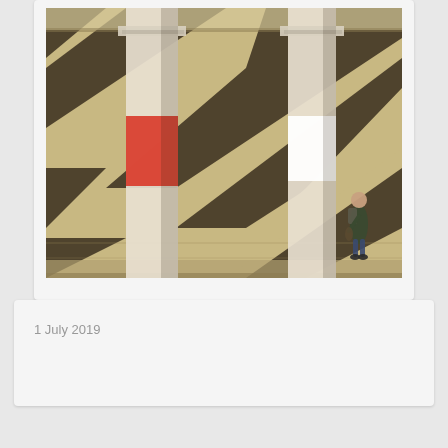[Figure (photo): Architectural photo showing large stone columns with diagonal light and shadow stripes on a wall behind them. Two columns are visible; the left column has a red rectangular stripe painted on it, and the right column has a white rectangular stripe. A person with a backpack stands near the right side of the image.]
1 July 2019